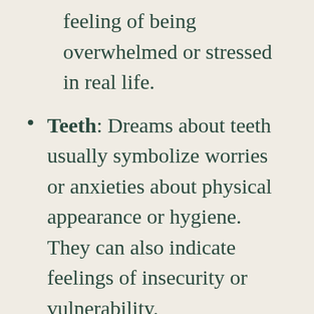feeling of being overwhelmed or stressed in real life.
Teeth: Dreams about teeth usually symbolize worries or anxieties about physical appearance or hygiene. They can also indicate feelings of insecurity or vulnerability.
Water: Water dreams often signify the need for emotional cleansing or a desire to start